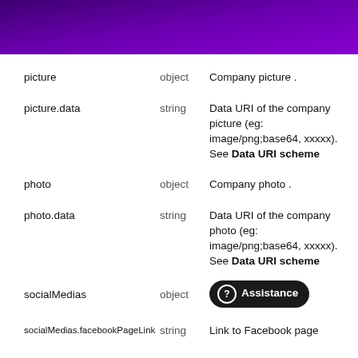[Figure (other): Purple gradient header bar]
| Field | Type | Description |
| --- | --- | --- |
| picture | object | Company picture . |
| picture.data | string | Data URI of the company picture (eg: image/png;base64, xxxxx). See Data URI scheme |
| photo | object | Company photo . |
| photo.data | string | Data URI of the company photo (eg: image/png;base64, xxxxx). See Data URI scheme |
| socialMedias | object | Assistance |
| socialMedias.facebookPageLink | string | Link to Facebook page |